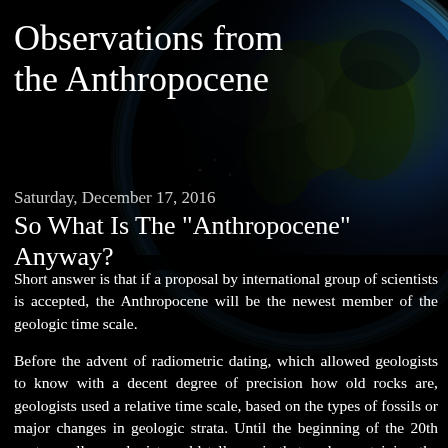Observations from the Anthropocene
Saturday, December 17, 2016
So What Is The "Anthropocene" Anyway?
Short answer is that if a proposal by international group of scientists is accepted, the Anthropocene will be the newest member of the geologic time scale.
Before the advent of radiometric dating, which allowed geologists to know with a decent degree of precision how old rocks are, geologists used a relative time scale, based on the types of fossils or major changes in geologic strata. Until the beginning of the 20th century, all a geologist could tell you is that rocks containing the bones of dinosaurs were
[Figure (photo): Photograph of Earth from space showing the globe with blue atmospheric glow, continents, and dark space background]